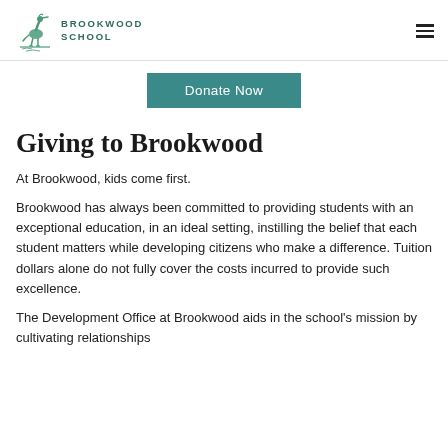BROOKWOOD SCHOOL
[Figure (logo): Brookwood School logo with heron bird illustration and text BROOKWOOD SCHOOL]
Donate Now
Giving to Brookwood
At Brookwood, kids come first.
Brookwood has always been committed to providing students with an exceptional education, in an ideal setting, instilling the belief that each student matters while developing citizens who make a difference. Tuition dollars alone do not fully cover the costs incurred to provide such excellence.
The Development Office at Brookwood aids in the school's mission by cultivating relationships